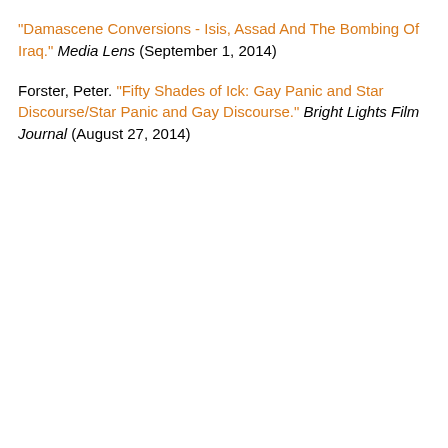"Damascene Conversions - Isis, Assad And The Bombing Of Iraq." Media Lens (September 1, 2014)
Forster, Peter. "Fifty Shades of Ick: Gay Panic and Star Discourse/Star Panic and Gay Discourse." Bright Lights Film Journal (August 27, 2014)